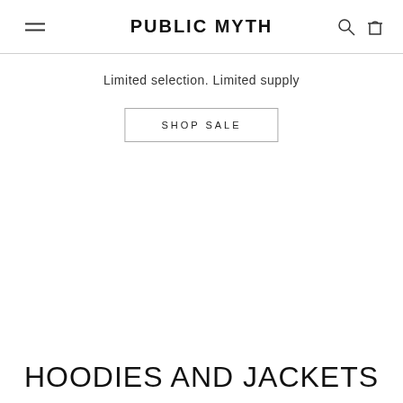PUBLIC MYTH
Limited selection. Limited supply
SHOP SALE
HOODIES AND JACKETS